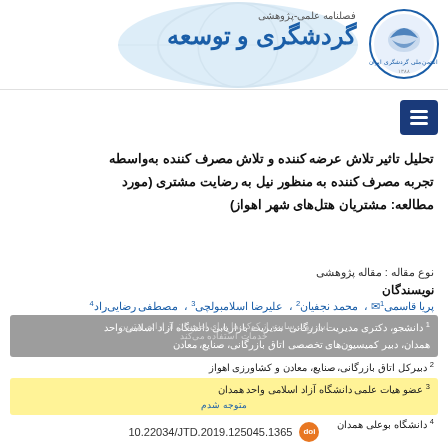فصلنامه علمی-پژوهشی گردشگری و توسعه
[Figure (logo): Circular logo with bird/globe emblem and Persian text]
تحلیل تاثیر تلاش عرضه کننده و تلاش مصرف کننده به‌واسطه تجربه مصرف کننده به منظور نیل به رضایت مشتری (مورد مطالعه: مشتریان هتل‌های شهر اهواز)
نوع مقاله : مقاله پژوهشی
نویسندگان
پریا قاسمی ؛ محمد نجفیان ؛ علیرضا اسلامبولچی ؛ مصطفی رضایی‌راد
1 دانشجو، دکتری مدیریت بازرگانی- مدیریت بازاریابی دانشگاه آزاد اسلامی واحد همدان، دبیر کمیسیون‌های تخصصی اتاق بازرگانی، صنایع، معادن
2 دبیرکل اتاق بازرگانی، صنایع، معادن و کشاورزی اهواز
3 عضو هیات علمی دانشگاه آزاد اسلامی واحد همدان
4 دانشگاه بوعلی همدان
10.22034/JTD.2019.125045.1365